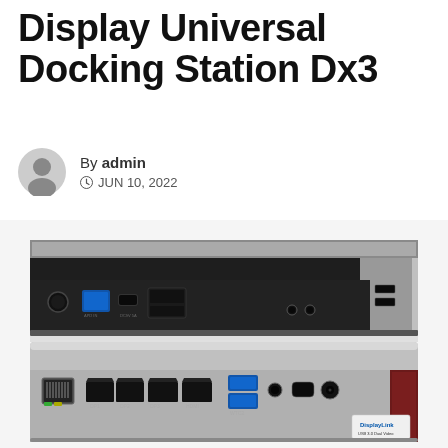Display Universal Docking Station Dx3
By admin
JUN 10, 2022
[Figure (photo): Product photo of a Display Universal Docking Station Dx3 shown from two angles: top view showing front panel with USB-A, USB-C, card reader, and audio ports; bottom view showing rear panel with ethernet, HDMI, DisplayPort, USB-A ports, USB-C, DC jack, and DisplayLink logo.]